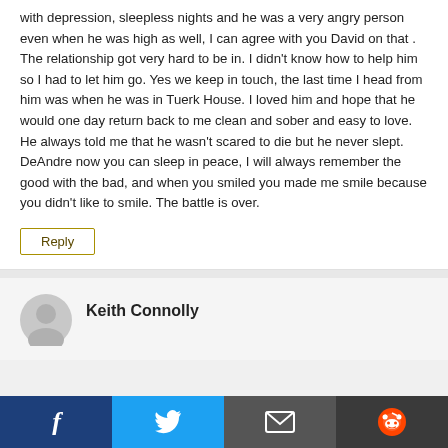with depression, sleepless nights and he was a very angry person even when he was high as well, I can agree with you David on that . The relationship got very hard to be in. I didn't know how to help him so I had to let him go. Yes we keep in touch, the last time I head from him was when he was in Tuerk House. I loved him and hope that he would one day return back to me clean and sober and easy to love. He always told me that he wasn't scared to die but he never slept. DeAndre now you can sleep in peace, I will always remember the good with the bad, and when you smiled you made me smile because you didn't like to smile. The battle is over.
Reply
Keith Connolly